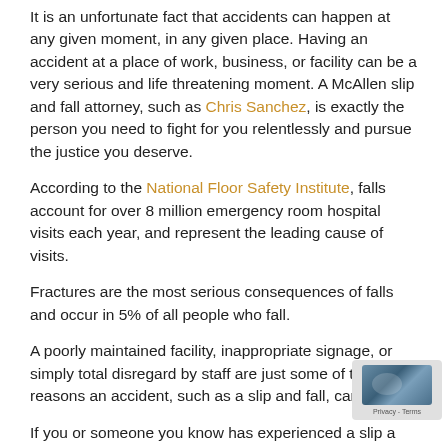It is an unfortunate fact that accidents can happen at any given moment, in any given place. Having an accident at a place of work, business, or facility can be a very serious and life threatening moment. A McAllen slip and fall attorney, such as Chris Sanchez, is exactly the person you need to fight for you relentlessly and pursue the justice you deserve.
According to the National Floor Safety Institute, falls account for over 8 million emergency room hospital visits each year, and represent the leading cause of visits.
Fractures are the most serious consequences of falls and occur in 5% of all people who fall.
A poorly maintained facility, inappropriate signage, or simply total disregard by staff are just some of the reasons an accident, such as a slip and fall, can occur.
If you or someone you know has experienced a slip and fall accident, we here at The Law Office of Chris Sanchez P.C.